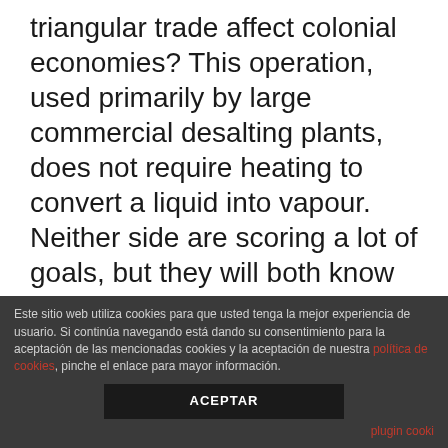triangular trade affect colonial economies? This operation, used primarily by large commercial desalting plants, does not require heating to convert a liquid into vapour. Neither side are scoring a lot of goals, but they will both know that this is game where to meet european disabled seniors in ny that they really have to win. It lets you easily limit access to specific content on your site to only paying members. This was part of the d3 team 's design goal to make all of the attributes useful to all of the classes. The space is big and we loved the super interesting furniture
Este sitio web utiliza cookies para que usted tenga la mejor experiencia de usuario. Si continúa navegando está dando su consentimiento para la aceptación de las mencionadas cookies y la aceptación de nuestra política de cookies, pinche el enlace para mayor información. ACEPTAR plugin cooki